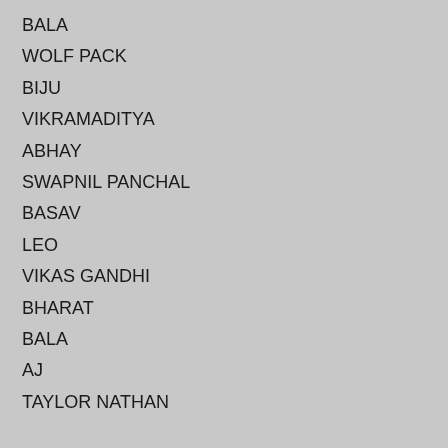BALA
WOLF PACK
BIJU
VIKRAMADITYA
ABHAY
SWAPNIL PANCHAL
BASAV
LEO
VIKAS GANDHI
BHARAT
BALA
AJ
TAYLOR NATHAN